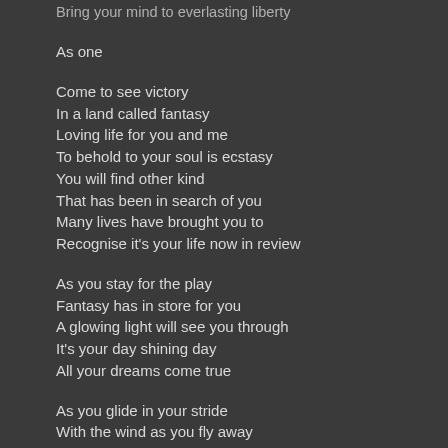Bring your mind to everlasting liberty
As one
Come to see victory
In a land called fantasy
Loving life for you and me
To behold to your soul is ecstasy
You will find other kind
That has been in search of you
Many lives have brought you to
Recognise it's your life now in review
As you stay for the play
Fantasy has in store for you
A glowing light will see you through
It's your day shining day
All your dreams come true
As you glide in your stride
With the wind as you fly away
Give a smile from your lips and say
Are you free yes I'm free